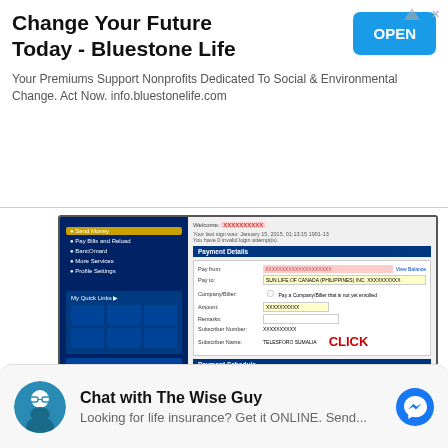[Figure (screenshot): Advertisement banner for Bluestone Life insurance with title, subtitle, and OPEN button]
[Figure (screenshot): Screenshot of an online banking payment portal showing Sun Life of Canada Philippines payment form with CLICK annotation and red arrow]
Choose Sun Life of Canada Philippines Inc. and fill out the remaining items then click submit.
That's it. You just need to enroll your Sun Life
[Figure (other): Chat widget: Chat with The Wise Guy - Looking for life insurance? Get it ONLINE. Send... with messenger icon]